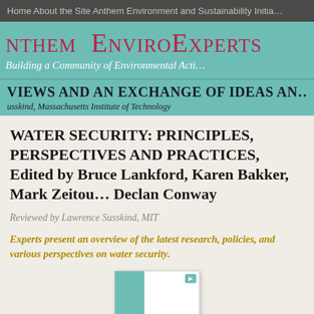Home   About the Site   Anthem Environment and Sustainability Initia...
Anthem EnviroExperts
Building a Community of Environmental Acti...
VIEWS AND AN EXCHANGE OF IDEAS AN...
usskind, Massachusetts Institute of Technology
WATER SECURITY: PRINCIPLES, PERSPECTIVES AND PRACTICES, Edited by Bruce Lankford, Karen Bakker, Mark Zeitou... Declan Conway
Reviewed by Lawrence Susskind, MIT
Experts present an overview of the latest research, policies, and various perspectives on water security.
[Figure (screenshot): Thumbnail of book cover showing teal left panel and white right panel with a button]